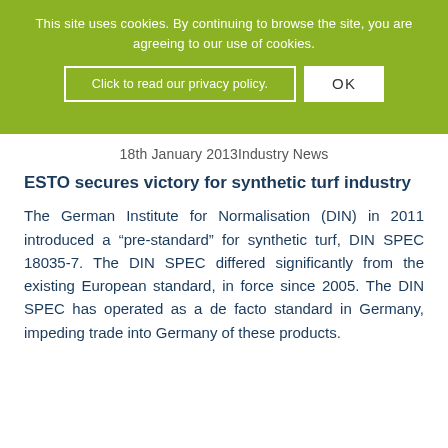This site uses cookies. By continuing to browse the site, you are agreeing to our use of cookies.
Click to read our privacy policy.
OK
18th January 2013Industry News
ESTO secures victory for synthetic turf industry
The German Institute for Normalisation (DIN) in 2011 introduced a “pre-standard” for synthetic turf, DIN SPEC 18035-7. The DIN SPEC differed significantly from the existing European standard, in force since 2005. The DIN SPEC has operated as a de facto standard in Germany, impeding trade into Germany of these products.